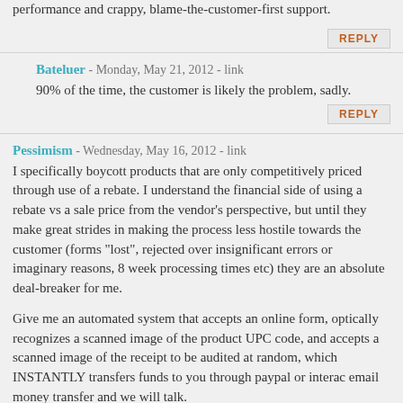performance and crappy, blame-the-customer-first support.
REPLY
Bateluer - Monday, May 21, 2012 - link
90% of the time, the customer is likely the problem, sadly.
REPLY
Pessimism - Wednesday, May 16, 2012 - link
I specifically boycott products that are only competitively priced through use of a rebate. I understand the financial side of using a rebate vs a sale price from the vendor's perspective, but until they make great strides in making the process less hostile towards the customer (forms "lost", rejected over insignificant errors or imaginary reasons, 8 week processing times etc) they are an absolute deal-breaker for me.

Give me an automated system that accepts an online form, optically recognizes a scanned image of the product UPC code, and accepts a scanned image of the receipt to be audited at random, which INSTANTLY transfers funds to you through paypal or interac email money transfer and we will talk.
<end rant>